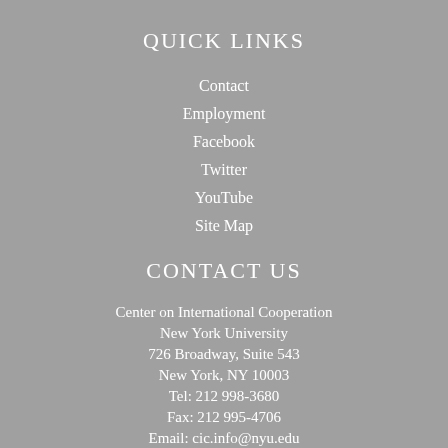QUICK LINKS
Contact
Employment
Facebook
Twitter
YouTube
Site Map
CONTACT US
Center on International Cooperation
New York University
726 Broadway, Suite 543
New York, NY 10003
Tel: 212 998-3680
Fax: 212 995-4706
Email: cic.info@nyu.edu